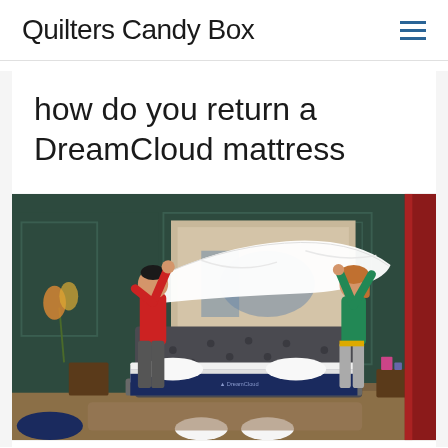Quilters Candy Box
how do you return a DreamCloud mattress
[Figure (photo): Two people making a bed together in a stylishly decorated dark green bedroom. A man in a red shirt on the left and a woman in a green top on the right are spreading a white sheet over a DreamCloud mattress on a grey upholstered bed frame. The mattress has a distinctive dark navy blue side panel with a logo.]